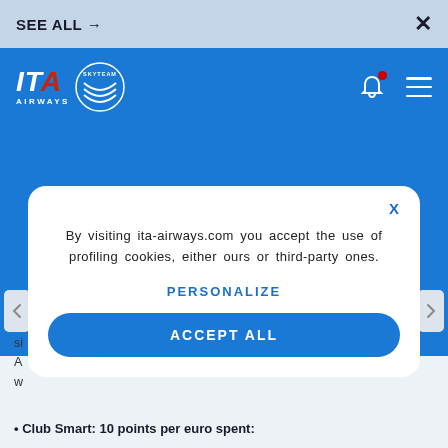SEE ALL →   ×
[Figure (logo): ITA Airways with SkyTeam logo on blue background with bell notification icon and hamburger menu]
[Figure (screenshot): Cookie consent modal dialog with X close button, privacy text, PERSONALIZE link and ACCEPT ALL button]
By visiting ita-airways.com you accept the use of profiling cookies, either ours or third-party ones.
PERSONALIZE
ACCEPT ALL
Club Smart: 10 points per euro spent: